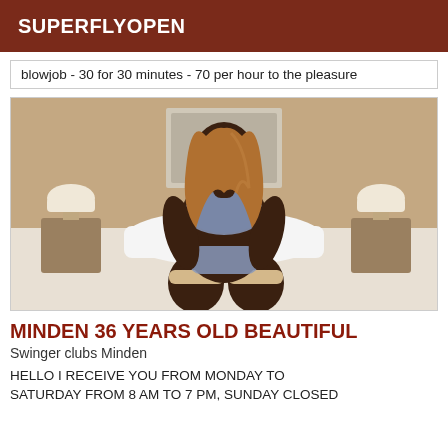SUPERFLYOPEN
blowjob - 30 for 30 minutes - 70 per hour to the pleasure
[Figure (photo): Woman in lingerie kneeling on a white bed in a hotel room with lamps on nightstands on either side]
MINDEN 36 YEARS OLD BEAUTIFUL
Swinger clubs Minden
HELLO I RECEIVE YOU FROM MONDAY TO SATURDAY FROM 8 AM TO 7 PM, SUNDAY CLOSED